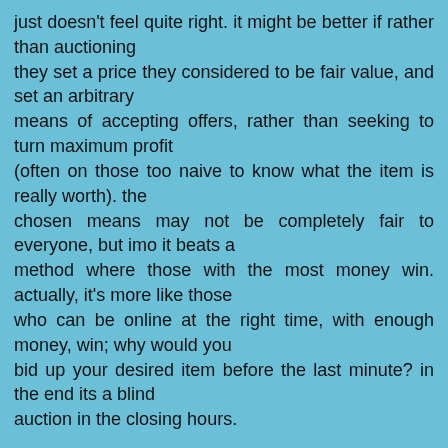just doesn't feel quite right. it might be better if rather than auctioning they set a price they considered to be fair value, and set an arbitrary means of accepting offers, rather than seeking to turn maximum profit (often on those too naive to know what the item is really worth). the chosen means may not be completely fair to everyone, but imo it beats a method where those with the most money win. actually, it's more like those who can be online at the right time, with enough money, win; why would you bid up your desired item before the last minute? in the end its a blind auction in the closing hours.
perry could have held many auctions, but instead he prices his product at reasonable value, and i appreciate that. last year he sold the first single for *charity* for $35. he could have sold it here for profit for $100+.